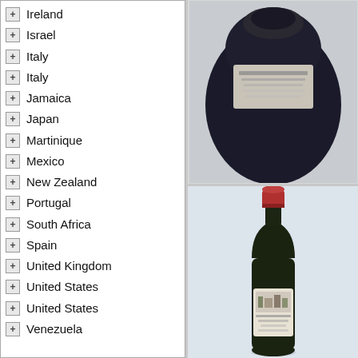Ireland
Israel
Italy
Italy
Jamaica
Japan
Martinique
Mexico
New Zealand
Portugal
South Africa
Spain
United Kingdom
United States
United States
Venezuela
[Figure (photo): Top-down view of a dark wine bottle showing label and capsule]
[Figure (photo): Full wine bottle with red capsule and green glass, showing Chateau Lafite Margaux label, standing upright on light background]